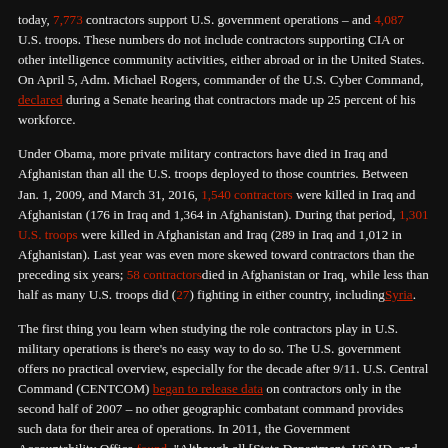today, 7,773 contractors support U.S. government operations – and 4,087 U.S. troops. These numbers do not include contractors supporting CIA or other intelligence community activities, either abroad or in the United States. On April 5, Adm. Michael Rogers, commander of the U.S. Cyber Command, declared during a Senate hearing that contractors made up 25 percent of his workforce.
Under Obama, more private military contractors have died in Iraq and Afghanistan than all the U.S. troops deployed to those countries. Between Jan. 1, 2009, and March 31, 2016, 1,540 contractors were killed in Iraq and Afghanistan (176 in Iraq and 1,364 in Afghanistan). During that period, 1,301 U.S. troops were killed in Afghanistan and Iraq (289 in Iraq and 1,012 in Afghanistan). Last year was even more skewed toward contractors than the preceding six years; 58 contractors died in Afghanistan or Iraq, while less than half as many U.S. troops did (27) fighting in either country, including Syria.
The first thing you learn when studying the role contractors play in U.S. military operations is there's no easy way to do so. The U.S. government offers no practical overview, especially for the decade after 9/11. U.S. Central Command (CENTCOM) began to release data on contractors only in the second half of 2007 – no other geographic combatant command provides such data for their area of operations. In 2011, the Government Accountability Office found, "Although all [State Department, USAID, and DOD] are required to track the number of personnel killed or wounded while working on contracts and assistance instruments in Iraq or Afghanistan, DOD still does not have a system